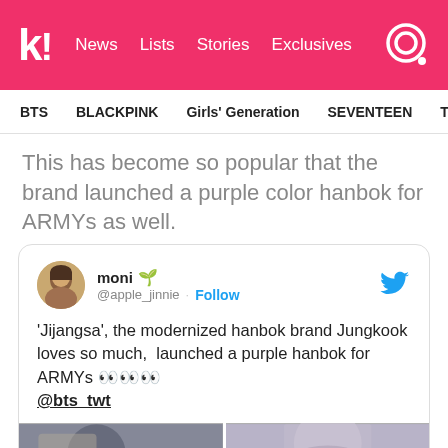k! News Lists Stories Exclusives
BTS BLACKPINK Girls' Generation SEVENTEEN TWICE
This has become so popular that the brand launched a purple color hanbok for ARMYs as well.
moni @apple_jinnie · Follow
'Jijangsa', the modernized hanbok brand Jungkook loves so much,  launched a purple hanbok for ARMYs 👀👀👀 @bts_twt